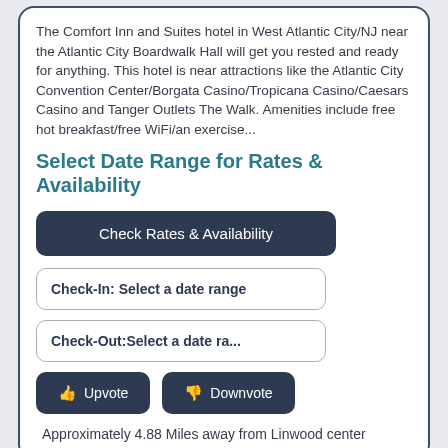The Comfort Inn and Suites hotel in West Atlantic City/NJ near the Atlantic City Boardwalk Hall will get you rested and ready for anything. This hotel is near attractions like the Atlantic City Convention Center/Borgata Casino/Tropicana Casino/Caesars Casino and Tanger Outlets The Walk. Amenities include free hot breakfast/free WiFi/an exercise...
Select Date Range for Rates & Availability
Check Rates & Availability
Check-In: Select a date range
Check-Out:Select a date ra...
Upvote
Downvote
Approximately 4.88 Miles away from Linwood center
[Figure (photo): Photo of a residential neighborhood with rooftops, chimneys, and trees visible against a blue sky]